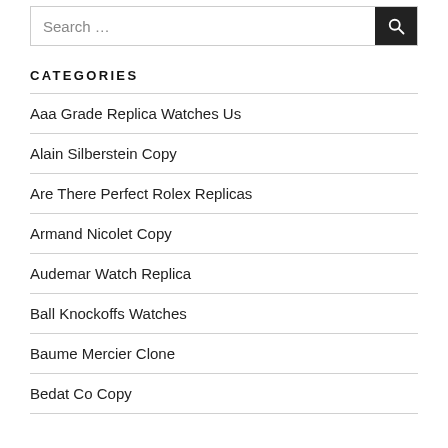[Figure (other): Search bar with text input 'Search ...' and a dark search button with magnifying glass icon]
CATEGORIES
Aaa Grade Replica Watches Us
Alain Silberstein Copy
Are There Perfect Rolex Replicas
Armand Nicolet Copy
Audemar Watch Replica
Ball Knockoffs Watches
Baume Mercier Clone
Bedat Co Copy